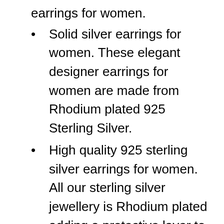earrings for women.
Solid silver earrings for women. These elegant designer earrings for women are made from Rhodium plated 925 Sterling Silver.
High quality 925 sterling silver earrings for women. All our sterling silver jewellery is Rhodium plated adding a protective layer to reduce tarnishing and keep a long-lasting shine.
Hypoallergenic earrings, nickel-free and lead-free high-quality designer jewellery for women. Presented in a specially designed jewellery box, creating a beautiful gift or keepsake.